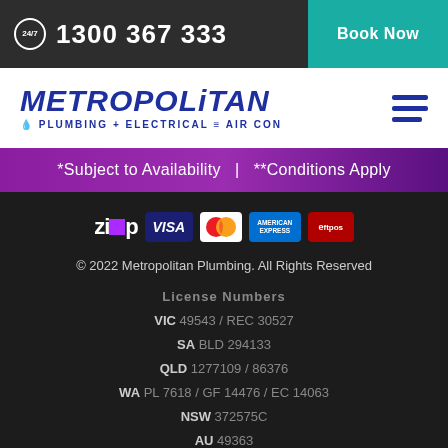24/7  1300 367 333  |  Book Now
[Figure (logo): Metropolitan Plumbing + Electrical = Air Con logo with hamburger menu icon]
*Subject to Availability  |  **Conditions Apply
[Figure (other): Payment method icons: Zip, Visa, Mastercard, American Express, eftpos]
© 2022 Metropolitan Plumbing. All Rights Reserved
License Numbers
VIC 49543 / REC 30527
SA BLD 294133
QLD 1277109 / 86376
WA PL 7618 / GF 14476 / EC 14063
NSW 372575C
AU 49363